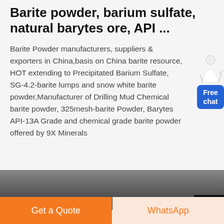Barite powder, barium sulfate, natural barytes ore, API ...
Barite Powder manufacturers, suppliers & exporters in China,basis on China barite resource, HOT extending to Precipitated Barium Sulfate, SG-4.2-barite lumps and snow white barite powder,Manufacturer of Drilling Mud Chemical barite powder, 325mesh-barite Powder, Barytes API-13A Grade and chemical grade barite powder offered by 9X Minerals
[Figure (illustration): Customer service representative figure with chat widget button showing 'Free chat']
[Figure (photo): Dark industrial or landscape photo strip, partially visible]
Get a Quote
WhatsApp